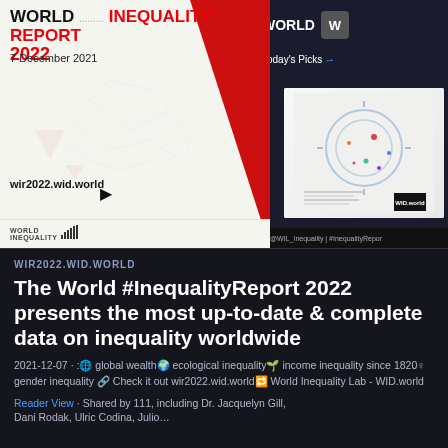[Figure (screenshot): Screenshot of World Inequality Report 2022 website and Twitter/social media card. Left panel shows white background with 'WORLD INEQUALITY REPORT 2022' heading, '7 December 2021' date, network graph illustration, 'wir2022.wid.world' URL with cursor arrow, and World Inequality logo with bar chart at bottom. Right panel shows dark background with 'WORLD' logo, 'Today's Picks →' link, '2022' label, and book cover thumbnail. Bottom shows '@WIL_Inequality | #InequalityRepor' Twitter handle.]
WIR2022.WID.WORLD
The World #InequalityReport 2022 presents the most up-to-date & complete data on inequality worldwide
2021-12-07 · :🌐 global wealth🌍 ecological inequality🌱 income inequality since 1820♀ gender inequality 🔗 Check it out wir2022.wid.world🔁 World Inequality Lab - WID.world
Reader View · Shared by 111, including Dr. Jacquelyn Gill, Dani Rodak, Ulric Codina, Julio…